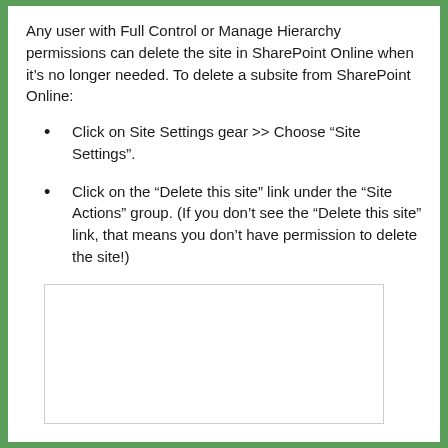Any user with Full Control or Manage Hierarchy permissions can delete the site in SharePoint Online when it's no longer needed. To delete a subsite from SharePoint Online:
Click on Site Settings gear >> Choose “Site Settings”.
Click on the “Delete this site” link under the “Site Actions” group. (If you don’t see the “Delete this site” link, that means you don’t have permission to delete the site!)
[Figure (screenshot): Screenshot placeholder showing a blank white box with a thin border, representing a SharePoint Online interface screenshot.]